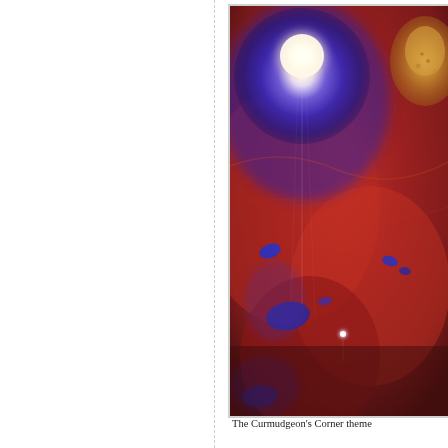[Figure (illustration): A partial view of an artistic/painted illustration showing a cosmic or nebula-like scene with a large blue-purple circular form at the top containing a bright white glowing center, set against a deep red background with scattered blue oval shapes and small bright star-like points of light. The image appears to be cropped, showing only the right portion of a full image.]
The Curmudgeon's Corner theme